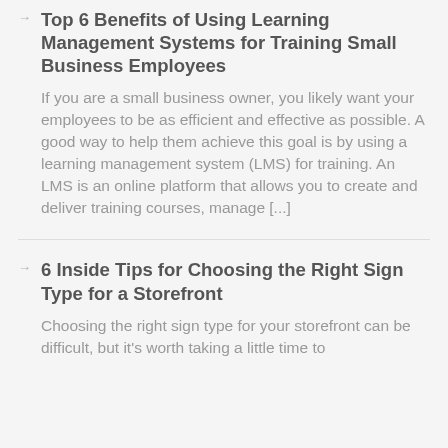Top 6 Benefits of Using Learning Management Systems for Training Small Business Employees
If you are a small business owner, you likely want your employees to be as efficient and effective as possible. A good way to help them achieve this goal is by using a learning management system (LMS) for training. An LMS is an online platform that allows you to create and deliver training courses, manage [...]
6 Inside Tips for Choosing the Right Sign Type for a Storefront
Choosing the right sign type for your storefront can be difficult, but it's worth taking a little time to